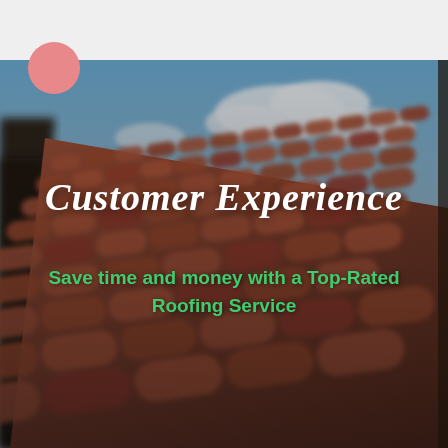[Figure (photo): Close-up photo of terracotta/clay roof tiles at an angle with a blue sky and clouds visible in the upper portion. The tiles are reddish-brown and fill most of the frame. Text overlays appear on top of the image.]
Customer Experience
Save time and money with a Top-Rated Roofing Service